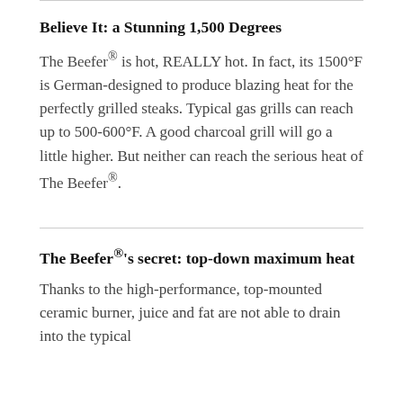Believe It: a Stunning 1,500 Degrees
The Beefer® is hot, REALLY hot. In fact, its 1500°F is German-designed to produce blazing heat for the perfectly grilled steaks. Typical gas grills can reach up to 500-600°F. A good charcoal grill will go a little higher. But neither can reach the serious heat of The Beefer®.
The Beefer®'s secret: top-down maximum heat
Thanks to the high-performance, top-mounted ceramic burner, juice and fat are not able to drain into the typical